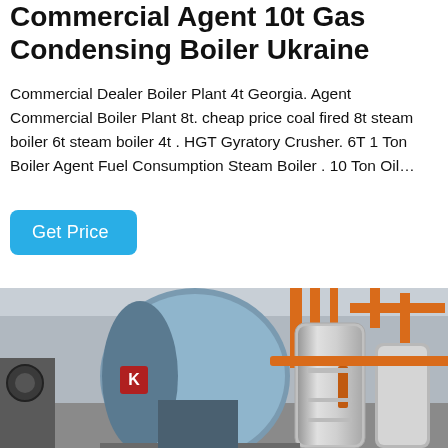Commercial Agent 10t Gas Condensing Boiler Ukraine
Commercial Dealer Boiler Plant 4t Georgia. Agent Commercial Boiler Plant 8t. cheap price coal fired 8t steam boiler 6t steam boiler 4t . HGT Gyratory Crusher. 6T 1 Ton Boiler Agent Fuel Consumption Steam Boiler . 10 Ton Oil…
[Figure (other): Button labeled 'Get Price' with rounded corners and light blue background]
[Figure (photo): Industrial boiler room with large cylindrical boilers, orange pipes and ductwork, grey metal surfaces, in a factory/plant setting]